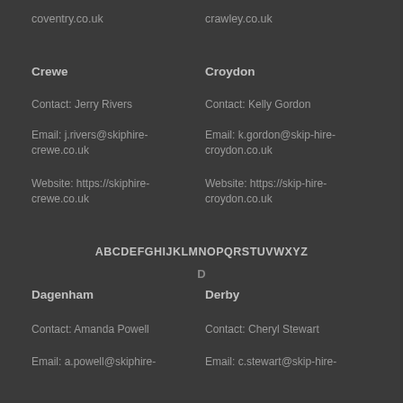coventry.co.uk
crawley.co.uk
Crewe
Croydon
Contact: Jerry Rivers
Contact: Kelly Gordon
Email: j.rivers@skiphire-crewe.co.uk
Email: k.gordon@skip-hire-croydon.co.uk
Website: https://skiphire-crewe.co.uk
Website: https://skip-hire-croydon.co.uk
ABCDEFGHIJKLMNOPQRSTUVWXYZ
D
Dagenham
Derby
Contact: Amanda Powell
Contact: Cheryl Stewart
Email: a.powell@skiphire-
Email: c.stewart@skip-hire-